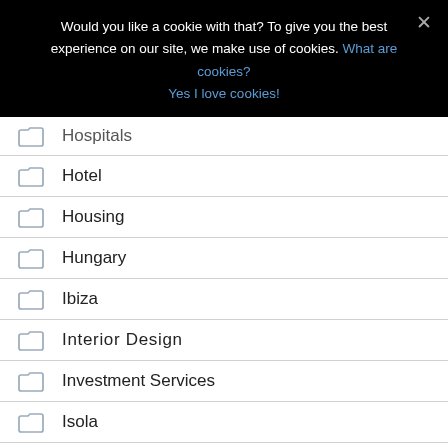Would you like a cookie with that? To give you the best experience on our site, we make use of cookies. What are cookies? Yes I love cookies!
Hospitals
Hotel
Housing
Hungary
Ibiza
Interior Design
Investment Services
Isola
Jacksonville
Jeans Stores
Jelšah